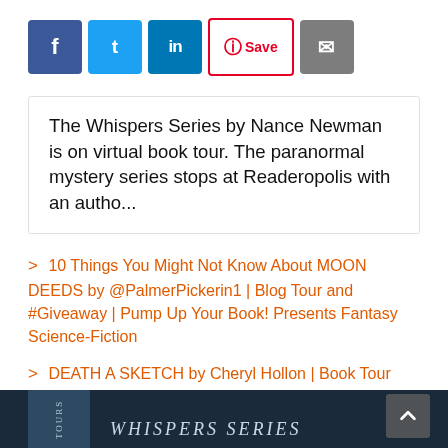[Figure (other): Social sharing buttons: Facebook (blue), Twitter (light blue), LinkedIn (dark blue), Pinterest Save (red outline), Email (gray)]
The Whispers Series by Nance Newman is on virtual book tour.  The paranormal mystery series stops at Readeropolis with an autho...
> 10 Things You Might Not Know About MOON DEEDS by @PalmerPickerin1 | Blog Tour and #Giveaway | Pump Up Your Book! Presents Fantasy Science-Fiction
> DEATH A SKETCH by Cheryl Hollon | Book Tour and Giveaway | GREAT ESCAPES TOURS Presents Cozy Mystery
[Figure (photo): Bottom strip showing partial book cover image for Whispers Series with dark blue/night background and partially visible text 'WHISPERS SERIES']